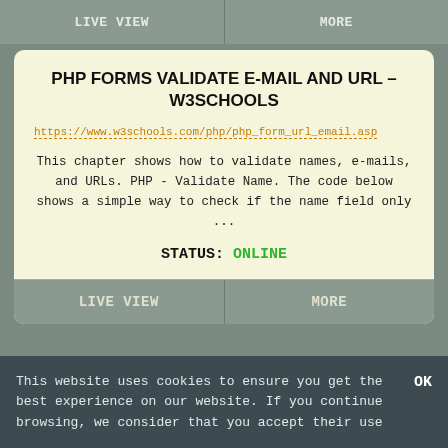LIVE VIEW | MORE
PHP FORMS VALIDATE E-MAIL AND URL - W3SCHOOLS
https://www.w3schools.com/php/php_form_url_email.asp
This chapter shows how to validate names, e-mails, and URLs. PHP - Validate Name. The code below shows a simple way to check if the name field only ...
STATUS: ONLINE
LIVE VIEW | MORE
This website uses cookies to ensure you get the best experience on our website. If you continue browsing, we consider that you accept their use
OK